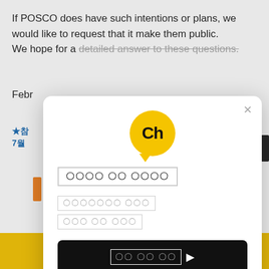If POSCO does have such intentions or plans, we would like to request that it make them public.
We hope for a detailed answer to these questions.
Febr
★참
7월
22년
[Figure (screenshot): Kakao chatbot modal dialog overlay showing the Ch (Chatterbox/Kakao Channel) logo — a yellow speech bubble with 'Ch' text — along with Korean text menu options and a dark call-to-action button with Korean text and a play arrow icon, plus a close (X) button in the top right.]